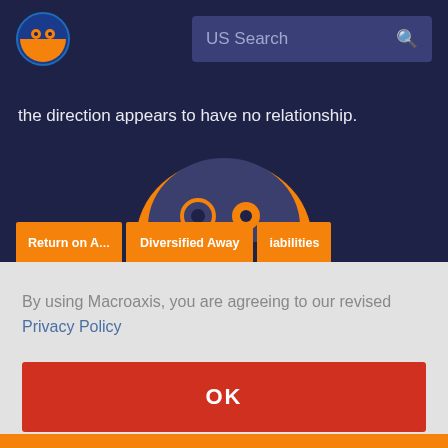[Figure (screenshot): Macroaxis website header with orange/dark-blue globe logo on the left and a 'US Search' search bar on the right with a magnifying glass icon, on dark navy background.]
the direction appears to have no relationship.
[Figure (illustration): Orange and dark blue cartoon robot mascot peeking over an orange bar, with two circular eyes. Below the robot are orange tab buttons labeled 'Return on A', 'Diversified Away', and 'abilities'.]
By using Macroaxis, you are agreeing to our revised Privacy Policy
[Figure (other): Red OK button]